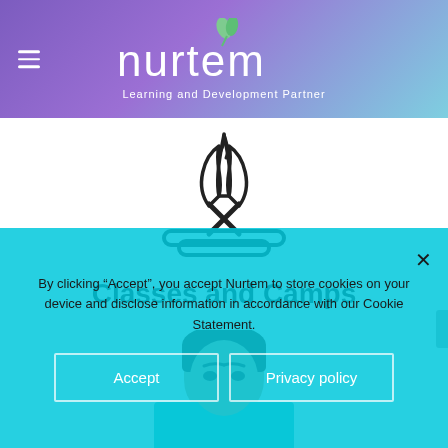[Figure (logo): Nurtem logo with leaf icon and tagline 'Learning and Development Partner' on purple to teal gradient header]
[Figure (illustration): Black outline campfire icon on white background]
Classes and Camps
[Figure (photo): Photo of a young woman with dark hair, partially visible, wearing teal/blue top]
By clicking “Accept”, you accept Nurtem to store cookies on your device and disclose information in accordance with our Cookie Statement.
Accept
Privacy policy